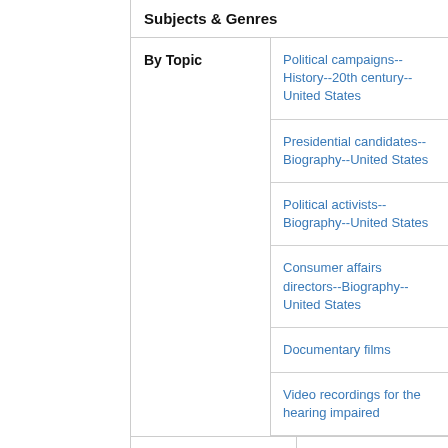Subjects & Genres
By Topic
Political campaigns--History--20th century--United States
Presidential candidates--Biography--United States
Political activists--Biography--United States
Consumer affairs directors--Biography--United States
Documentary films
Video recordings for the hearing impaired
By Name
Nader, Ralph